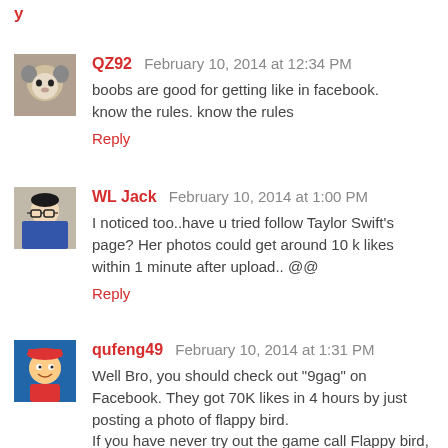y
QZ92  February 10, 2014 at 12:34 PM
boobs are good for getting like in facebook.
know the rules. know the rules
Reply
WL Jack  February 10, 2014 at 1:00 PM
I noticed too..have u tried follow Taylor Swift's page? Her photos could get around 10 k likes within 1 minute after upload.. @@
Reply
qufeng49  February 10, 2014 at 1:31 PM
Well Bro, you should check out "9gag" on Facebook. They got 70K likes in 4 hours by just posting a photo of flappy bird.
If you have never try out the game call Flappy bird, you